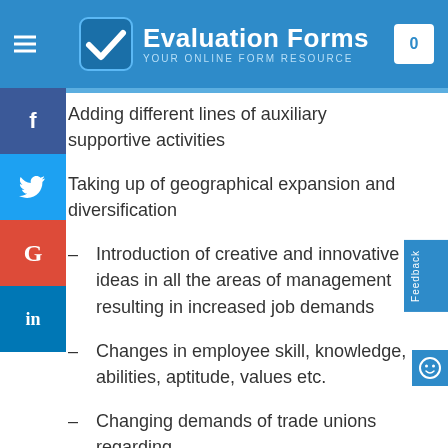Evaluation Forms — YOUR ONLINE FORM RESOURCE
Adding different lines of auxiliary supportive activities
Taking up of geographical expansion and diversification
– Introduction of creative and innovative ideas in all the areas of management resulting in increased job demands
– Changes in employee skill, knowledge, abilities, aptitude, values etc.
– Changing demands of trade unions regarding